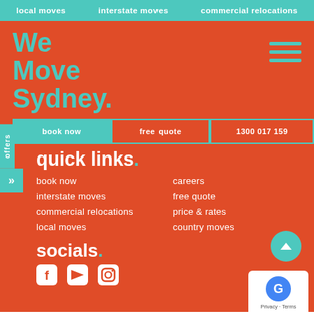local moves   interstate moves   commercial relocations
We Move Sydney.
book now
free quote
1300 017 159
quick links.
book now
interstate moves
commercial relocations
local moves
careers
free quote
price & rates
country moves
socials.